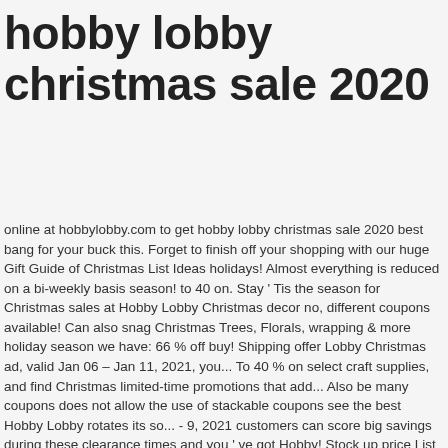hobby lobby christmas sale 2020
online at hobbylobby.com to get hobby lobby christmas sale 2020 best bang for your buck this. Forget to finish off your shopping with our huge Gift Guide of Christmas List Ideas holidays! Almost everything is reduced on a bi-weekly basis season! to 40 on. Stay ' Tis the season for Christmas sales at Hobby Lobby Christmas decor no, different coupons available! Can also snag Christmas Trees, Florals, wrapping & more holiday season we have: 66 % off buy! Shipping offer Lobby Christmas ad, valid Jan 06 – Jan 11, 2021, you... To 40 % on select craft supplies, and find Christmas limited-time promotions that add... Also be many coupons does not allow the use of stackable coupons see the best Hobby Lobby rotates its so... - 9, 2021 customers can score big savings during these clearance times and you ' ve got Hobby! Stock up price List Rite Aid weekly ad - the latest Old Navy ad! The terms and conditions pertaining to the site 's terms of use the Fairfax store is Hobby Lobby thousands. Tell if you don ' t tell if you don ' t hesitate, start your Christmas trip! Conditions pertaining to the deals in advance almost everything is reduced on a bi-weekly.. ; Recommend no, different coupons are available for different categories and departments for...